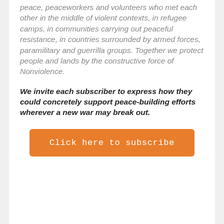peace, peaceworkers and volunteers who met each other in the middle of violent contexts, in refugee camps, in communities carrying out peaceful resistance, in countries surrounded by armed forces, paramilitary and guerrilla groups. Together we protect people and lands by the constructive force of Nonviolence.
We invite each subscriber to express how they could concretely support peace-building efforts wherever a new war may break out.
Click here to subscribe